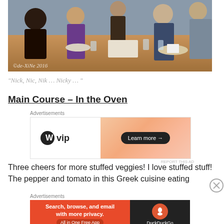[Figure (photo): Group of people sitting around a dining table in a restaurant, smiling at the camera. Watermark reads '©de-XiNe 2016']
"Nick, Nic, Nik … Nicky … "
Main Course – In the Oven
[Figure (other): Advertisement: WordPress VIP logo on white left side, orange gradient right side with 'Learn more →' button. Label: Advertisements. REPORT THIS AD text below.]
Three cheers for more stuffed veggies! I love stuffed stuff! The pepper and tomato in this Greek cuisine eating
[Figure (other): Advertisement: DuckDuckGo ad. Orange left side reads 'Search, browse, and email with more privacy. All in One Free App'. Dark right side shows DuckDuckGo logo. Label: Advertisements.]